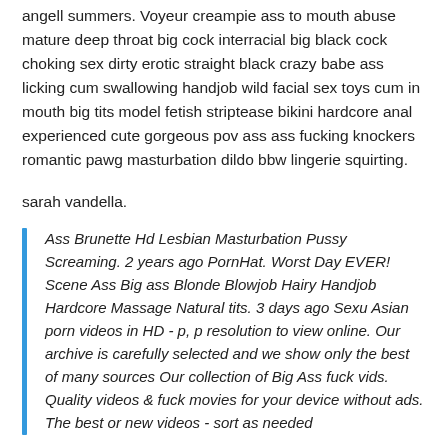angell summers. Voyeur creampie ass to mouth abuse mature deep throat big cock interracial big black cock choking sex dirty erotic straight black crazy babe ass licking cum swallowing handjob wild facial sex toys cum in mouth big tits model fetish striptease bikini hardcore anal experienced cute gorgeous pov ass ass fucking knockers romantic pawg masturbation dildo bbw lingerie squirting.
sarah vandella.
Ass Brunette Hd Lesbian Masturbation Pussy Screaming. 2 years ago PornHat. Worst Day EVER! Scene Ass Big ass Blonde Blowjob Hairy Handjob Hardcore Massage Natural tits. 3 days ago Sexu Asian porn videos in HD - p, p resolution to view online. Our archive is carefully selected and we show only the best of many sources Our collection of Big Ass fuck vids. Quality videos & fuck movies for your device without ads. The best or new videos - sort as needed